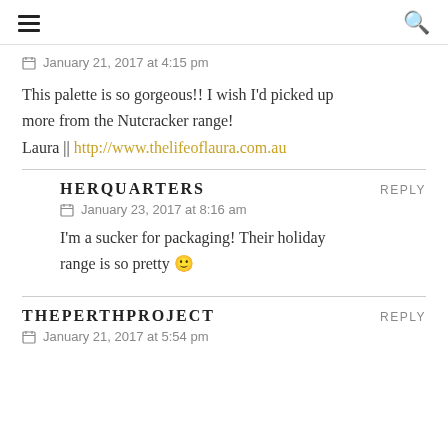≡  🔍
January 21, 2017 at 4:15 pm
This palette is so gorgeous!! I wish I'd picked up more from the Nutcracker range!
Laura || http://www.thelifeoflaura.com.au
HERQUARTERS
REPLY
January 23, 2017 at 8:16 am
I'm a sucker for packaging! Their holiday range is so pretty 🙂
THEPERTHPROJECT
REPLY
January 21, 2017 at 5:54 pm